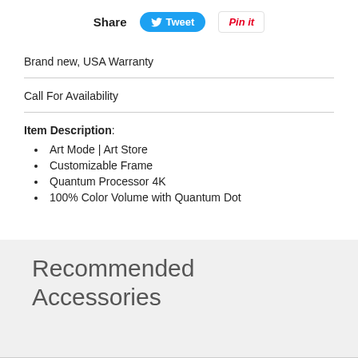Share
Tweet
Pin it
Brand new, USA Warranty
Call For Availability
Item Description:
Art Mode | Art Store
Customizable Frame
Quantum Processor 4K
100% Color Volume with Quantum Dot
Recommended Accessories